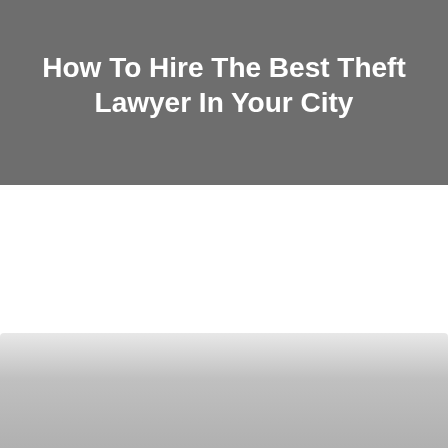CRIMINAL DEFENSE
How To Hire The Best Theft Lawyer In Your City
[Figure (photo): Partially visible image at the bottom of the page with a light grey gradient, likely a photo related to legal or criminal defense content.]